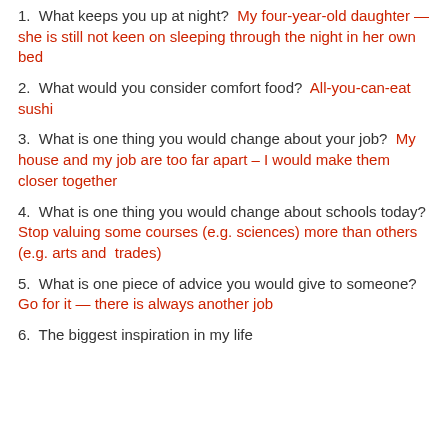1. What keeps you up at night? My four-year-old daughter — she is still not keen on sleeping through the night in her own bed
2. What would you consider comfort food? All-you-can-eat sushi
3. What is one thing you would change about your job? My house and my job are too far apart – I would make them closer together
4. What is one thing you would change about schools today? Stop valuing some courses (e.g. sciences) more than others (e.g. arts and trades)
5. What is one piece of advice you would give to someone? Go for it — there is always another job
6. The biggest inspiration in my life...